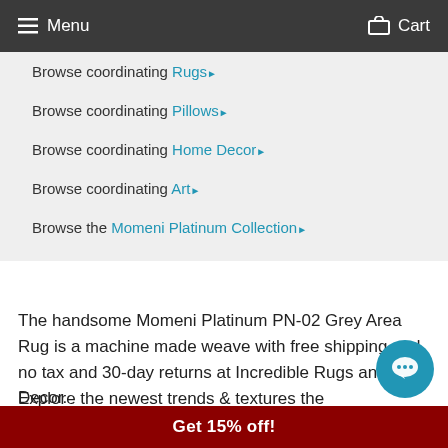Menu   Cart
Browse coordinating Rugs ▶
Browse coordinating Pillows ▶
Browse coordinating Home Decor ▶
Browse coordinating Art ▶
Browse the Momeni Platinum Collection ▶
The handsome Momeni Platinum PN-02 Grey Area Rug is a machine made weave with free shipping and no tax and 30-day returns at Incredible Rugs and Decor.
Explore the newest trends & textures the Platinum Collection. Machine-made in Turkey of the most vibrant chenille base and viscose pile, these rugs feature tra
Get 15% off!